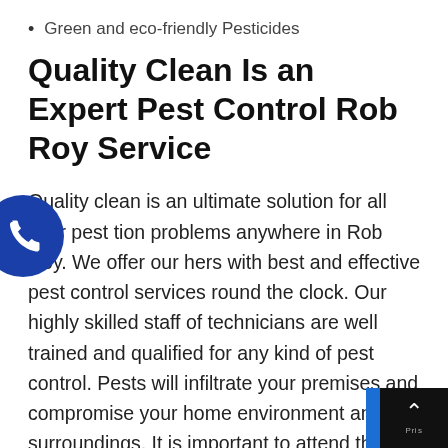Green and eco-friendly Pesticides
Quality Clean Is an Expert Pest Control Rob Roy Service
Quality clean is an ultimate solution for all your pest infestation problems anywhere in Rob Roy. We offer our customers with best and effective pest control services round the clock. Our highly skilled staff of technicians are well trained and qualified for any kind of pest control. Pests will infiltrate your premises and compromise your home environment and surroundings. It is important to attend the source of pest infestation and stabilise it as soon as possible. Ignoring pest infestation anywhere will lead to drastic damages and high risks of heaving dangerous diseases and illnesses. We emphasise on using high tools and equipment to curb pest infestation anywhere.